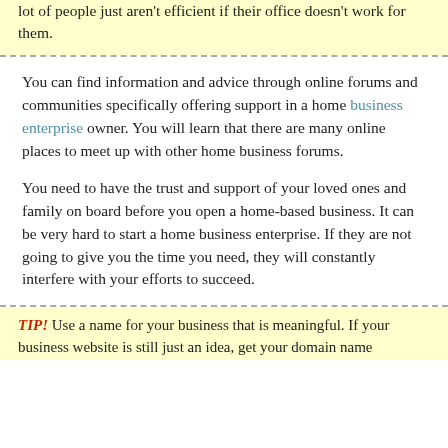lot of people just aren't efficient if their office doesn't work for them.
You can find information and advice through online forums and communities specifically offering support in a home business enterprise owner. You will learn that there are many online places to meet up with other home business forums.
You need to have the trust and support of your loved ones and family on board before you open a home-based business. It can be very hard to start a home business enterprise. If they are not going to give you the time you need, they will constantly interfere with your efforts to succeed.
TIP! Use a name for your business that is meaningful. If your business website is still just an idea, get your domain name